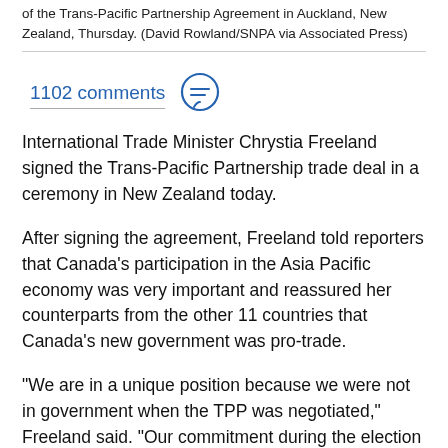of the Trans-Pacific Partnership Agreement in Auckland, New Zealand, Thursday. (David Rowland/SNPA via Associated Press)
1102 comments
International Trade Minister Chrystia Freeland signed the Trans-Pacific Partnership trade deal in a ceremony in New Zealand today.
After signing the agreement, Freeland told reporters that Canada's participation in the Asia Pacific economy was very important and reassured her counterparts from the other 11 countries that Canada's new government was pro-trade.
"We are in a unique position because we were not in government when the TPP was negotiated," Freeland said. "Our commitment during the election was to